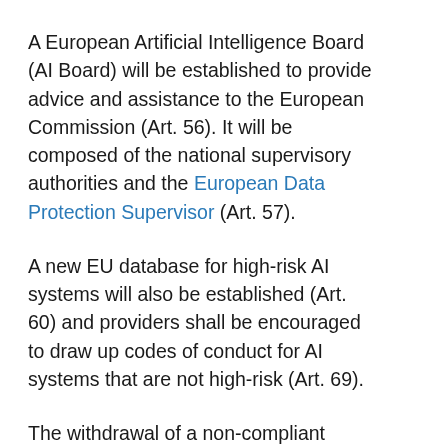A European Artificial Intelligence Board (AI Board) will be established to provide advice and assistance to the European Commission (Art. 56). It will be composed of the national supervisory authorities and the European Data Protection Supervisor (Art. 57).
A new EU database for high-risk AI systems will also be established (Art. 60) and providers shall be encouraged to draw up codes of conduct for AI systems that are not high-risk (Art. 69).
The withdrawal of a non-compliant product from the market in one Member State can also lead to the withdrawal on an EU Level following a safeguard procedure (Art. 66). And the European Data Protection Supervisor may impose administrative fines on Union institutions, agencies and bodies falling within the